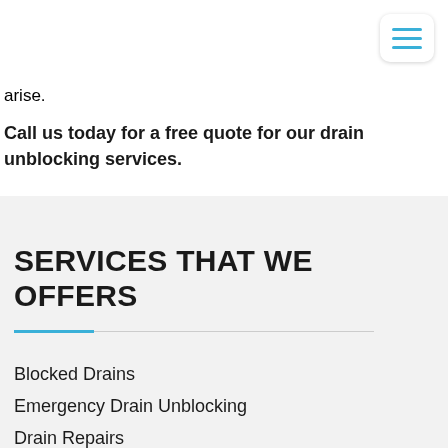arise.
Call us today for a free quote for our drain unblocking services.
SERVICES THAT WE OFFERS
Blocked Drains
Emergency Drain Unblocking
Drain Repairs